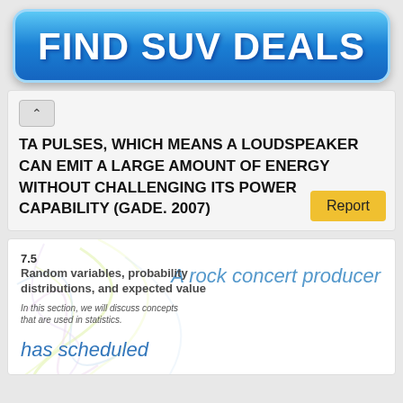[Figure (other): Blue gradient button/banner reading FIND SUV DEALS]
^ TA PULSES, WHICH MEANS A LOUDSPEAKER CAN EMIT A LARGE AMOUNT OF ENERGY WITHOUT CHALLENGING ITS POWER CAPABILITY (GADE. 2007)
[Figure (screenshot): Textbook page section 7.5 Random variables, probability distributions, and expected value. In this section, we will discuss concepts that are used in statistics. Text: A rock concert producer / has scheduled]
A rock concert producer
has scheduled